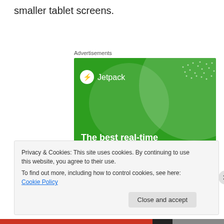smaller tablet screens.
Advertisements
[Figure (illustration): Jetpack advertisement banner on green background showing Jetpack logo and text 'The best real-time WordPress backup plugin']
Privacy & Cookies: This site uses cookies. By continuing to use this website, you agree to their use.
To find out more, including how to control cookies, see here: Cookie Policy